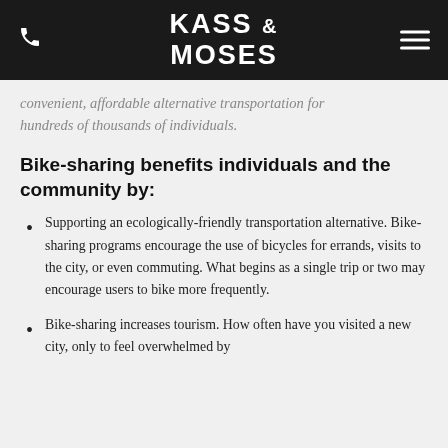KASS & MOSES
convenient, affordable alternative transportation for hundreds of thousands of individuals.
Bike-sharing benefits individuals and the community by:
Supporting an ecologically-friendly transportation alternative. Bike-sharing programs encourage the use of bicycles for errands, visits to the city, or even commuting. What begins as a single trip or two may encourage users to bike more frequently.
Bike-sharing increases tourism. How often have you visited a new city, only to feel overwhelmed by